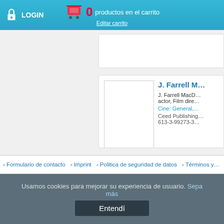LOGIN  0 productos en el carrito  Editar carrito
[Figure (screenshot): Partial book listing card at top, cut off]
J. Farrell M...
J. Farrell MacD... actor, Film dire...
Cine: General,...
Ceed Publishing... 613-3-99273-3...
« Anterior  1  2  …  750  751
› Formulario de contacto  › Imprint  › Politica de seguridad de datos  › Términos y...
Usamos cookies para mejorar su experiencia de usuario. Sepa más
Entendí